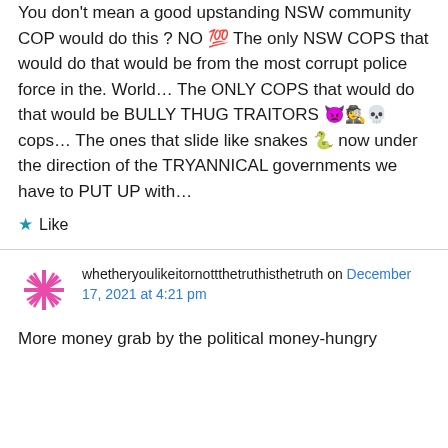You don't mean a good upstanding NSW community COP would do this ? NO 💯 The only NSW COPS that would do that would be from the most corrupt police force in the. World… The ONLY COPS that would do that would be BULLY THUG TRAITORS 👿🕵💀 cops… The ones that slide like snakes 🐊 now under the direction of the TRYANNICAL governments we have to PUT UP with…
★ Like
whetheryoulikeitornottthetruthisthetruth on December 17, 2021 at 4:21 pm
More money grab by the political money-hungry